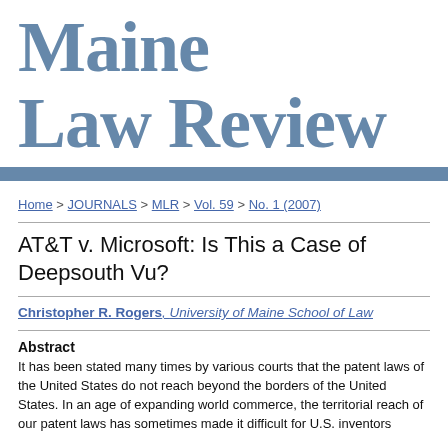Maine Law Review
Home > JOURNALS > MLR > Vol. 59 > No. 1 (2007)
AT&T v. Microsoft: Is This a Case of Deepsouth Vu?
Christopher R. Rogers, University of Maine School of Law
Abstract
It has been stated many times by various courts that the patent laws of the United States do not reach beyond the borders of the United States. In an age of expanding world commerce, the territorial reach of our patent laws has sometimes made it difficult for U.S. inventors...